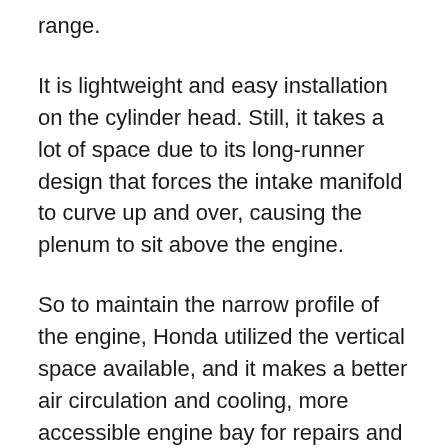range.
It is lightweight and easy installation on the cylinder head. Still, it takes a lot of space due to its long-runner design that forces the intake manifold to curve up and over, causing the plenum to sit above the engine.
So to maintain the narrow profile of the engine, Honda utilized the vertical space available, and it makes a better air circulation and cooling, more accessible engine bay for repairs and service.
The transversely mounted L-series engines have to be equal in, if not more superior, fuel economy and efficient fuel return to compete with the D-series.